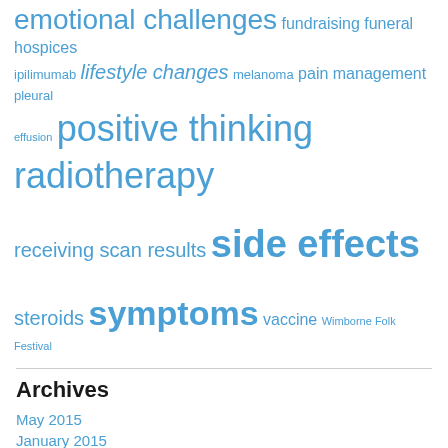emotional challenges fundraising funeral hospices ipilimumab lifestyle changes melanoma pain management pleural effusion positive thinking radiotherapy receiving scan results side effects steroids symptoms vaccine Wimborne Folk Festival
Archives
May 2015
January 2015
December 2014
November 2014
January 2014
March 2013